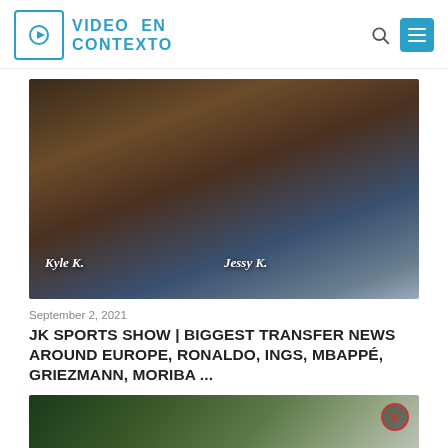[Figure (logo): Video En Contexto logo with play button icon in a square border and blue text]
[Figure (photo): Two young boys (Kyle K. and Jessy K.) sitting at a table, screenshot from JK Sports Show video]
September 2, 2021
JK SPORTS SHOW | BIGGEST TRANSFER NEWS AROUND EUROPE, RONALDO, INGS, MBAPPÉ, GRIEZMANN, MORIBA ...
[Figure (photo): Person standing next to a car with hood open, outdoors in a forest, with a red R logo badge in the corner]